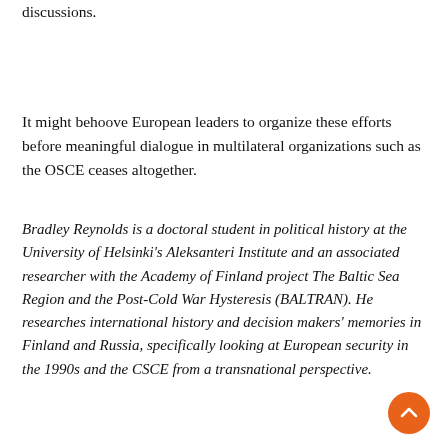discussions.
It might behoove European leaders to organize these efforts before meaningful dialogue in multilateral organizations such as the OSCE ceases altogether.
Bradley Reynolds is a doctoral student in political history at the University of Helsinki's Aleksanteri Institute and an associated researcher with the Academy of Finland project The Baltic Sea Region and the Post-Cold War Hysteresis (BALTRAN). He researches international history and decision makers' memories in Finland and Russia, specifically looking at European security in the 1990s and the CSCE from a transnational perspective.